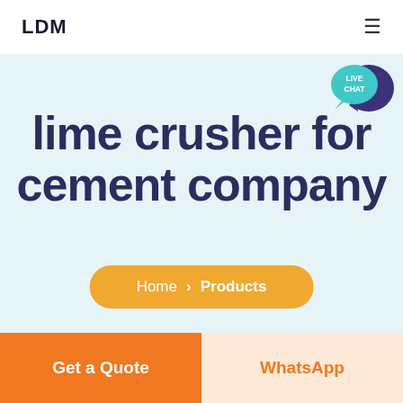LDM
[Figure (illustration): Live Chat speech bubble icon with teal circular background and dark purple chat bubble overlay, text reads LIVE CHAT]
lime crusher for cement company
Home > Products
Get a Quote
WhatsApp